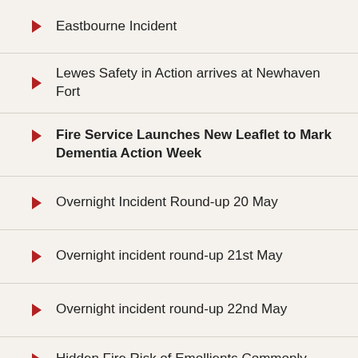Eastbourne Incident
Lewes Safety in Action arrives at Newhaven Fort
Fire Service Launches New Leaflet to Mark Dementia Action Week
Overnight Incident Round-up 20 May
Overnight incident round-up 21st May
Overnight incident round-up 22nd May
Hidden Fire Risk of Emollients Commonly Used For Eczema and Psoriasis
Overnight Incident Round-up 28 May
Crews Called to Commercial Property Fire in Hastings
Overnight incident round-up 30th May